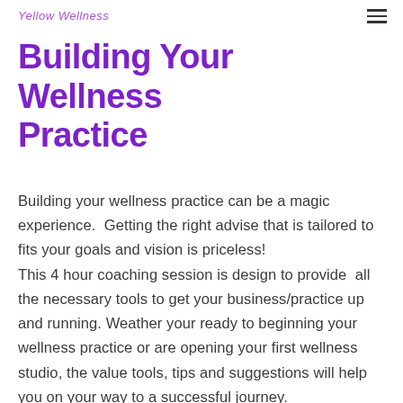Yellow Wellness
Building Your Wellness Practice
Building your wellness practice can be a magic experience.  Getting the right advise that is tailored to fits your goals and vision is priceless! This 4 hour coaching session is design to provide  all the necessary tools to get your business/practice up and running. Weather your ready to beginning your wellness practice or are opening your first wellness studio, the value tools, tips and suggestions will help you on your way to a successful journey.